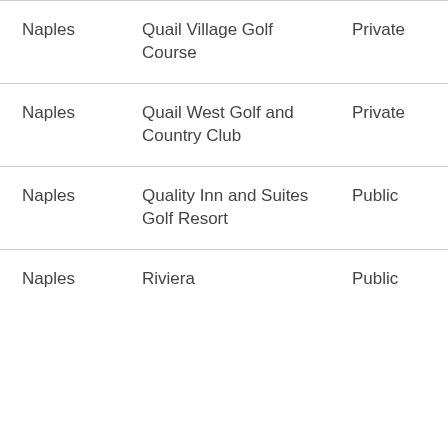| City | Venue | Type | Fee |
| --- | --- | --- | --- |
| Naples | Quail Village Golf Course | Private | $3,000 |
| Naples | Quail West Golf and Country Club | Private | $75,000 |
| Naples | Quality Inn and Suites Golf Resort | Public | $3,300 |
| Naples | Riviera | Public |  |